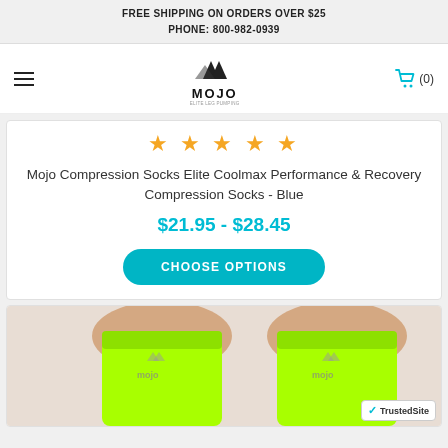FREE SHIPPING ON ORDERS OVER $25
PHONE: 800-982-0939
[Figure (logo): Mojo Elite Leg Pumping logo with triangular mountain shapes above MOJO text]
★★★★★
Mojo Compression Socks Elite Coolmax Performance & Recovery Compression Socks - Blue
$21.95 - $28.45
CHOOSE OPTIONS
[Figure (photo): Neon green Mojo compression calf sleeves worn on person's legs, showing the Mojo logo on the fabric]